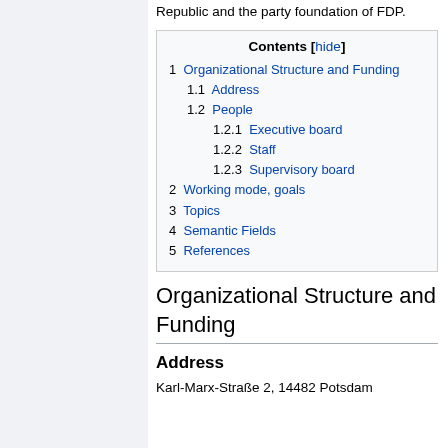Republic and the party foundation of FDP.
| Contents [hide] |
| --- |
| 1  Organizational Structure and Funding |
| 1.1  Address |
| 1.2  People |
| 1.2.1  Executive board |
| 1.2.2  Staff |
| 1.2.3  Supervisory board |
| 2  Working mode, goals |
| 3  Topics |
| 4  Semantic Fields |
| 5  References |
Organizational Structure and Funding
Address
Karl-Marx-Straße 2, 14482 Potsdam